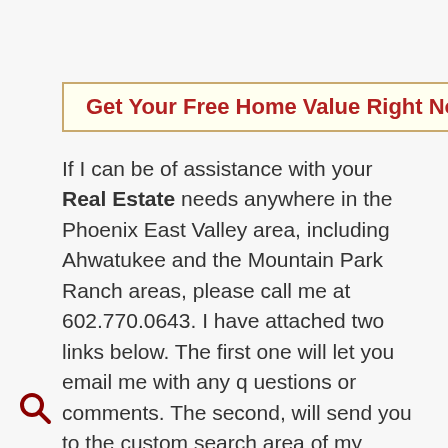Get Your Free Home Value Right Now!
If I can be of assistance with your Real Estate needs anywhere in the Phoenix East Valley area, including Ahwatukee and the Mountain Park Ranch areas, please call me at 602.770.0643. I have attached two links below. The first one will let you email me with any questions or comments. The second, will send you to the custom search area of my website to look at homes for sale in Ahwatukee / Mountain Park Ranch areas by zip codes and by homes and lots.